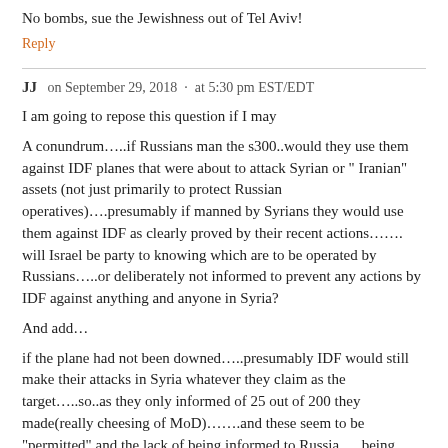No bombs, sue the Jewishness out of Tel Aviv!
Reply
JJ   on September 29, 2018  ·  at 5:30 pm EST/EDT
I am going to repose this question if I may
A conundrum…..if Russians man the s300..would they use them against IDF planes that were about to attack Syrian or " Iranian" assets (not just primarily to protect Russian operatives)….presumably if manned by Syrians they would use them against IDF as clearly proved by their recent actions……. will Israel be party to knowing which are to be operated by Russians…..or deliberately not informed to prevent any actions by IDF against anything and anyone in Syria?
And add…
if the plane had not been downed…..presumably IDF would still make their attacks in Syria whatever they claim as the target…..so..as they only informed of 25 out of 200 they made(really cheesing of MoD)…….and these seem to be "permitted" and the lack of being informed to Russia…. being